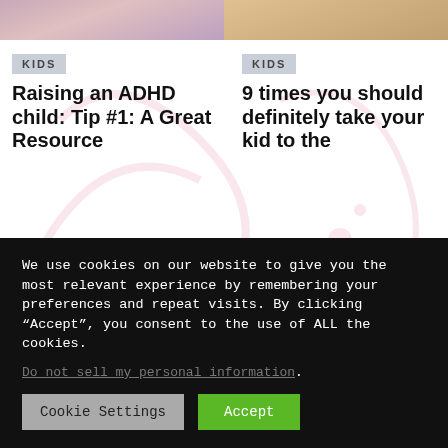[Figure (photo): Top image strip showing two photos cropped at top]
KIDS
Raising an ADHD child: Tip #1: A Great Resource
KIDS
9 times you should definitely take your kid to the
[Figure (photo): Bottom left: THE 2021 GIFT GUIDE tablet device image on dark background]
[Figure (photo): Bottom right: The God on the Mountain mountain landscape with text overlay]
We use cookies on our website to give you the most relevant experience by remembering your preferences and repeat visits. By clicking “Accept”, you consent to the use of ALL the cookies.
Do not sell my personal information
Cookie Settings
Accept